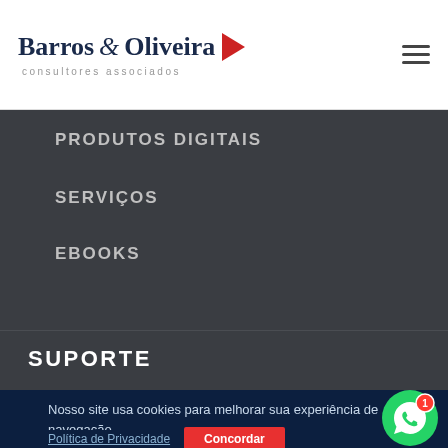[Figure (logo): Barros & Oliveira consultores associados logo with red arrow]
PRODUTOS DIGITAIS
SERVIÇOS
EBOOKS
SUPORTE
Nosso site usa cookies para melhorar sua experiência de navegação.
Política de Privacidade   Concordar